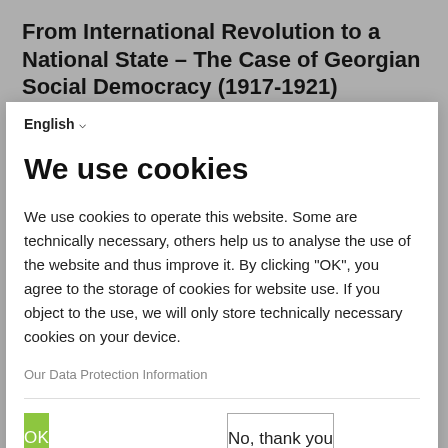From International Revolution to a National State – The Case of Georgian Social Democracy (1917-1921)
In the twilight years of the 19th century, the Georgian people were faced with a number of challenges. Although the abolition
English ▾
We use cookies
We use cookies to operate this website. Some are technically necessary, others help us to analyse the use of the website and thus improve it. By clicking "OK", you agree to the storage of cookies for website use. If you object to the use, we will only store technically necessary cookies on your device.
Our Data Protection Information
OK
No, thank you
Powered by PIWIK PRO